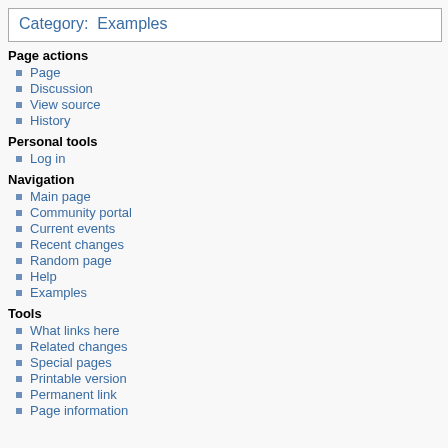Category:  Examples
Page actions
Page
Discussion
View source
History
Personal tools
Log in
Navigation
Main page
Community portal
Current events
Recent changes
Random page
Help
Examples
Tools
What links here
Related changes
Special pages
Printable version
Permanent link
Page information